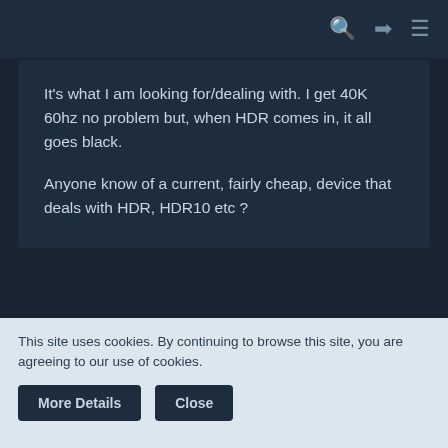navigation bar with search, login, and menu icons
It's what I am looking for/dealing with. I get 40K 60hz no problem but, when HDR comes in, it all goes black.

Anyone know of a current, fairly cheap, device that deals with HDR, HDR10 etc ?
Puck
Student
This site uses cookies. By continuing to browse this site, you are agreeing to our use of cookies.